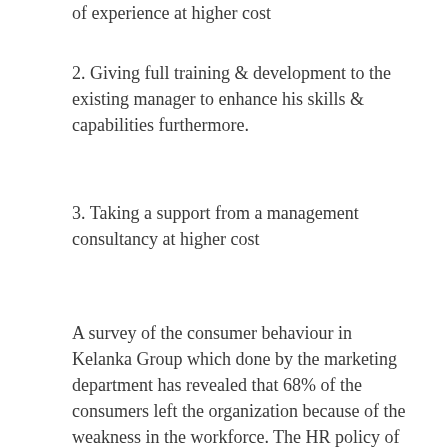of experience at higher cost
2. Giving full training & development to the existing manager to enhance his skills & capabilities furthermore.
3. Taking a support from a management consultancy at higher cost
A survey of the consumer behaviour in Kelanka Group which done by the marketing department has revealed that 68% of the consumers left the organization because of the weakness in the workforce. The HR policy of the entity is hiring people at low cost & enhancing them through the training & development. As a still growing small business organization actually they don't prefer to spend much cost for hiring people. They have used this policy by ignoring the implicit cost of low cost